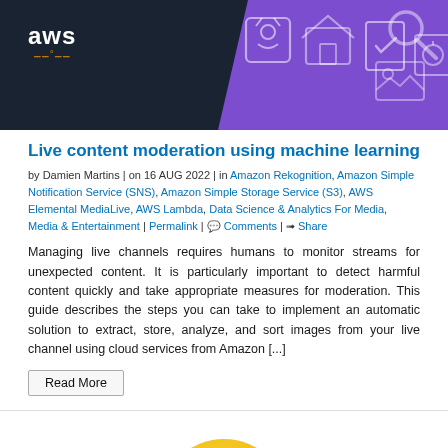[Figure (illustration): AWS banner with dark navy background on left showing AWS logo, and purple section on right with icons including a cat/GitHub icon, house icon, checkmark document icon, plant/tree icon, and image icon. A magnifying glass search icon appears top right.]
Live content moderation using machine learning
by Damien Martins | on 16 AUG 2022 | in Amazon Rekognition, Amazon Simple Notification Service (SNS), Amazon Simple Storage Service (S3), AWS Elemental MediaLive, AWS Lambda, Data Science & Analytics For Media, Media & Entertainment | Permalink | Comments | Share
Managing live channels requires humans to monitor streams for unexpected content. It is particularly important to detect harmful content quickly and take appropriate measures for moderation. This guide describes the steps you can take to implement an automatic solution to extract, store, analyze, and sort images from your live channel using cloud services from Amazon [...]
Read More
[Figure (illustration): Large yellow smiley face emoji with rosy cheeks, smiling expression, partially visible at bottom of page]